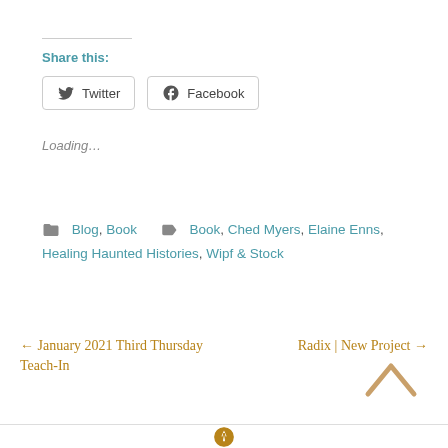Share this:
[Figure (other): Twitter and Facebook share buttons]
Loading…
Blog, Book   Book, Ched Myers, Elaine Enns, Healing Haunted Histories, Wipf & Stock
← January 2021 Third Thursday Teach-In
Radix | New Project →
[Figure (other): Scroll to top arrow icon]
WordPress icon